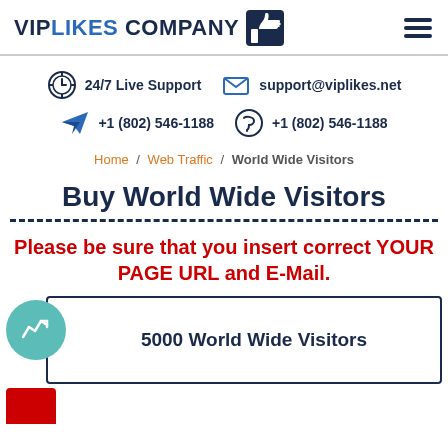VIPLIKES COMPANY
24/7 Live Support | support@viplikes.net | +1 (802) 546-1188 | +1 (802) 546-1188
Home / Web Traffic / World Wide Visitors
Buy World Wide Visitors
Please be sure that you insert correct YOUR PAGE URL and E-Mail.
5000 World Wide Visitors